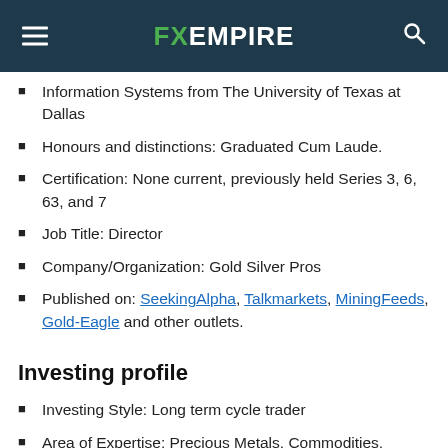FX EMPIRE
Information Systems from The University of Texas at Dallas
Honours and distinctions: Graduated Cum Laude.
Certification: None current, previously held Series 3, 6, 63, and 7
Job Title: Director
Company/Organization: Gold Silver Pros
Published on: SeekingAlpha, Talkmarkets, MiningFeeds, Gold-Eagle and other outlets.
Investing profile
Investing Style: Long term cycle trader
Area of Expertise: Precious Metals, Commodities,